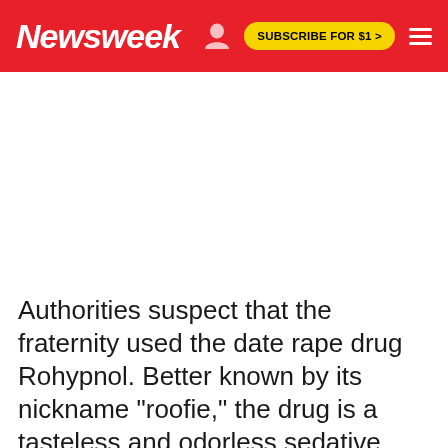Newsweek | SUBSCRIBE FOR $1 >
[Figure (other): Advertisement/blank white area below the Newsweek navigation header]
Authorities suspect that the fraternity used the date rape drug Rohypnol. Better known by its nickname "roofie," the drug is a tasteless and odorless sedative that causes disorientation